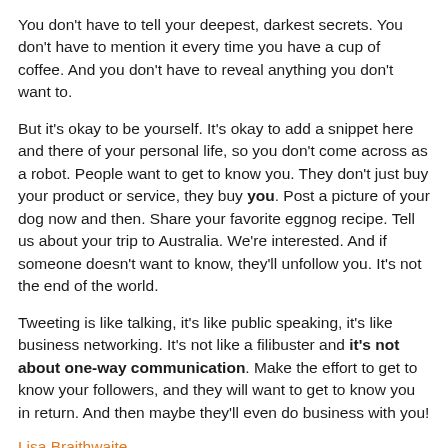You don't have to tell your deepest, darkest secrets. You don't have to mention it every time you have a cup of coffee. And you don't have to reveal anything you don't want to.
But it's okay to be yourself. It's okay to add a snippet here and there of your personal life, so you don't come across as a robot. People want to get to know you. They don't just buy your product or service, they buy you. Post a picture of your dog now and then. Share your favorite eggnog recipe. Tell us about your trip to Australia. We're interested. And if someone doesn't want to know, they'll unfollow you. It's not the end of the world.
Tweeting is like talking, it's like public speaking, it's like business networking. It's not like a filibuster and it's not about one-way communication. Make the effort to get to know your followers, and they will want to get to know you in return. And then maybe they'll even do business with you!
Lisa Braithwaite